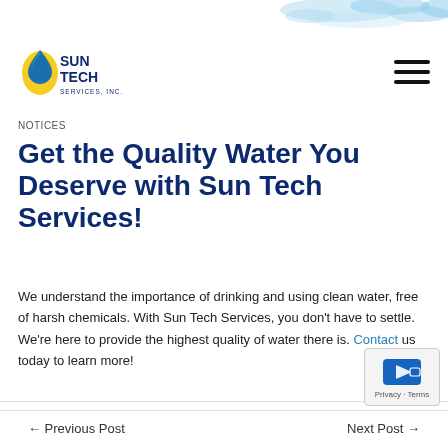[Figure (illustration): Water splash image at top of page]
[Figure (logo): Sun Tech Services, Inc. logo with drop and sun icon]
≡ (hamburger menu icon)
NOTICES
Get the Quality Water You Deserve with Sun Tech Services!
We understand the importance of drinking and using clean water, free of harsh chemicals. With Sun Tech Services, you don't have to settle. We're here to provide the highest quality of water there is. Contact us today to learn more!
← Previous Post    Next Post →